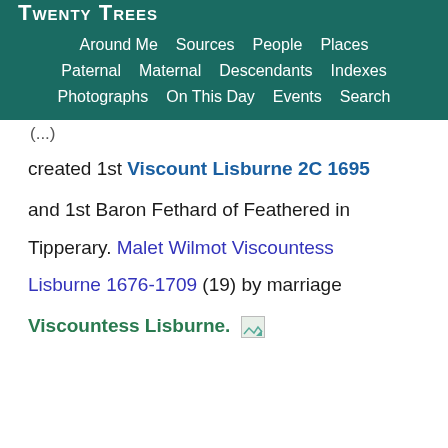Twenty Trees
Around Me | Sources | People | Places
Paternal | Maternal | Descendants | Indexes
Photographs | On This Day | Events | Search
created 1st Viscount Lisburne 2C 1695
and 1st Baron Fethard of Feathered in Tipperary. Malet Wilmot Viscountess Lisburne 1676-1709 (19) by marriage Viscountess Lisburne.